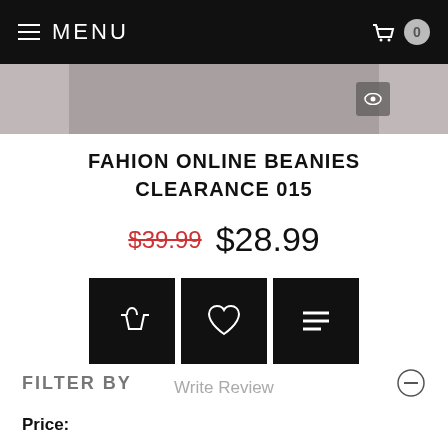MENU
[Figure (photo): Product image strip showing a beanie hat, partially visible]
FAHION ONLINE BEANIES CLEARANCE 015
$39.99 $28.99
[Figure (infographic): Three black action buttons: add to basket, wishlist (heart), and compare (lines)]
Write Review
FILTER BY
Price: